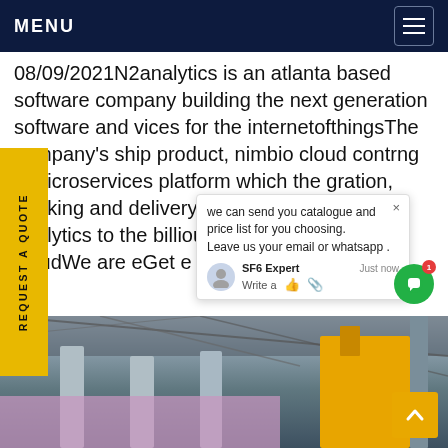MENU
08/09/2021N2analytics is an atlanta based software company building the next generation software and vices for the internetofthingsThe company's ship product, nimbio cloud contr ng e microservices platform which the gration, tracking and delivery of 3, orithms and analytics to the billio uters l devices in the cloudWe are eGet e
[Figure (screenshot): Chat popup overlay with message: 'we can send you catalogue and price list for you choosing. Leave us your email or whatsapp.' with SF6 Expert agent avatar and Just now timestamp]
[Figure (photo): Construction site photo showing industrial structure with pillars, crane/yellow machinery, metal framework overhead, and pink/purple draping material at bottom]